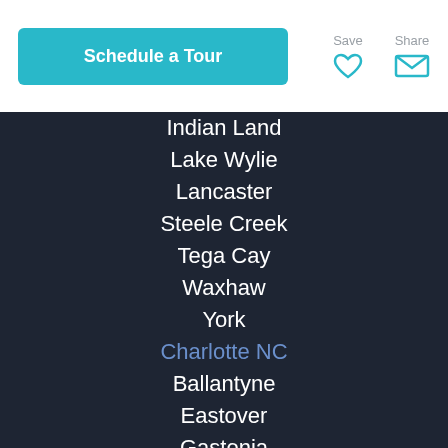Schedule a Tour | Save | Share
Indian Land
Lake Wylie
Lancaster
Steele Creek
Tega Cay
Waxhaw
York
Charlotte NC
Ballantyne
Eastover
Gastonia
Huntersville
Matthews
Myers Park
Pineville